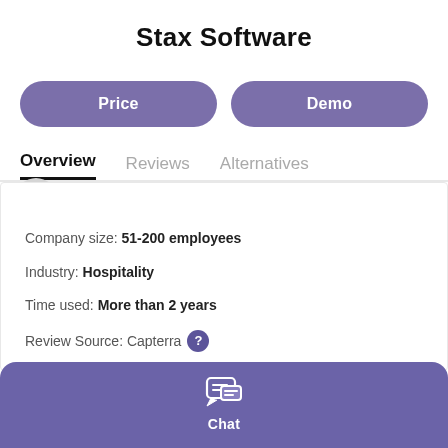Stax Software
[Figure (other): Two purple pill-shaped buttons labeled Price and Demo]
Overview | Reviews | Alternatives
Company size: 51-200 employees
Industry: Hospitality
Time used: More than 2 years
Review Source: Capterra (question mark icon)
[Figure (other): Purple bottom chat bar with chat bubble icon and Chat label]